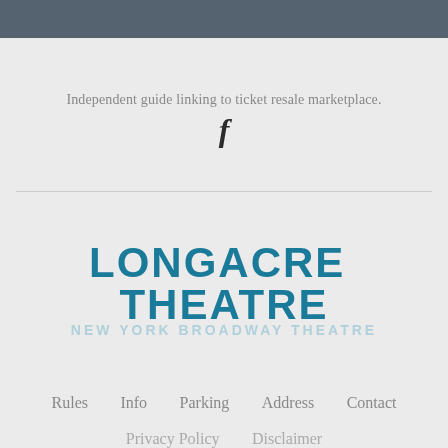Independent guide linking to ticket resale marketplace.
[Figure (logo): Facebook 'f' icon in dark color]
[Figure (logo): LONGACRE THEATRE logo in teal/blue with subtitle NEW YORK BROADWAY THEATRE]
Rules   Info   Parking   Address   Contact
Privacy Policy   Disclaimer